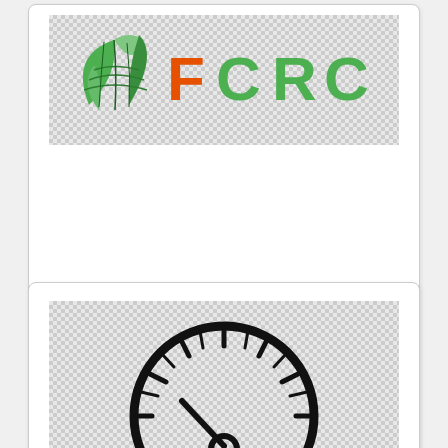[Figure (logo): FCRC logo with green leaf/globe icon on left and orange-green FCRC text on right, on a checkered background]
Snow Globe, Globe Clipart, Eagle Globe And Anchor, Globe icon
[Figure (illustration): Black outline speedometer/gauge icon showing a needle pointing to lower-left, with tick marks around the upper semicircle, on a checkered background]
Snow Globe, Eagle Globe And Anchor, Globe Black